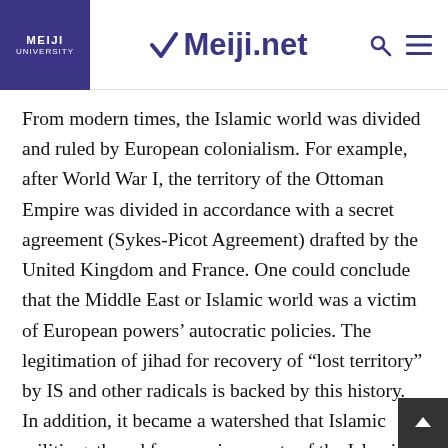Meiji University | Meiji.net
From modern times, the Islamic world was divided and ruled by European colonialism. For example, after World War I, the territory of the Ottoman Empire was divided in accordance with a secret agreement (Sykes-Picot Agreement) drafted by the United Kingdom and France. One could conclude that the Middle East or Islamic world was a victim of European powers' autocratic policies. The legitimation of jihad for recovery of “lost territory” by IS and other radicals is backed by this history. In addition, it became a watershed that Islamic militia gathered from various parts of the Islamic world after the Soviet Union intervened militarily in Afghanistan in 1979. It signified the beginning of jihad to defeat “distant enemies” such as the Soviet military invading Afghanistan as an enemy to Islam, in addition to jihad to defeat “nearby enemies” such as policy-makers considered as non-Islamic or foreign fo…